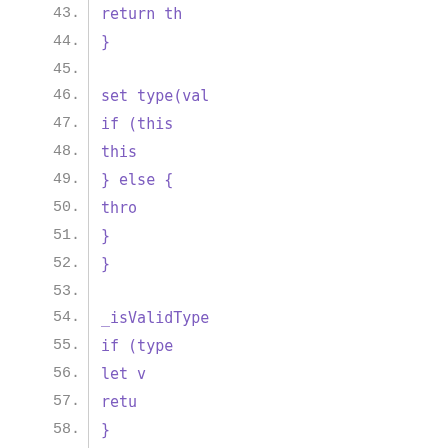Code listing lines 43-60 showing JavaScript/TypeScript code with line numbers. Lines include: return th, }, set type(val, if (this, this, } else {, thro, }, }, (blank), _isValidType, if (type, let v, retu, }, return fa, }